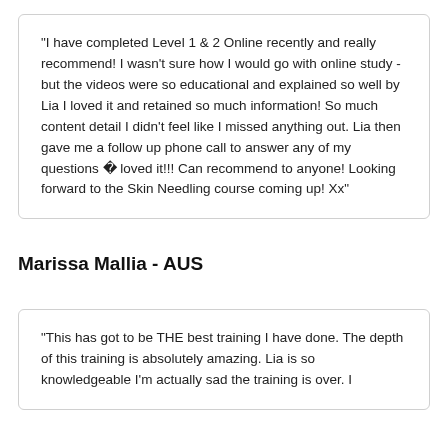“I have completed Level 1 & 2 Online recently and really recommend! I wasn’t sure how I would go with online study - but the videos were so educational and explained so well by Lia I loved it and retained so much information! So much content detail I didn’t feel like I missed anything out. Lia then gave me a follow up phone call to answer any of my questions � loved it!!! Can recommend to anyone! Looking forward to the Skin Needling course coming up! Xx”
Marissa Mallia - AUS
“This has got to be THE best training I have done. The depth of this training is absolutely amazing. Lia is so knowledgeable I’m actually sad the training is over. I